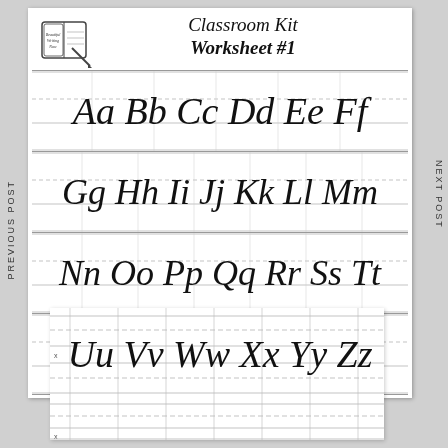PREVIOUS POST
NEXT POST
Classroom Kit
Worksheet #1
[Figure (illustration): Small logo of a book with text 'Beautiful Writing Now' and a hand holding a pen]
[Figure (illustration): Handwriting worksheet showing calligraphic alphabet letters on ruled lines: Aa Bb Cc Dd Ee Ff / Gg Hh Ii Jj Kk Ll Mm / Nn Oo Pp Qq Rr Ss Tt / Uu Vv Ww Xx Yy Zz]
[Figure (other): Practice writing grid with dashed midlines and ruled lines, with x-height markers on the left side]